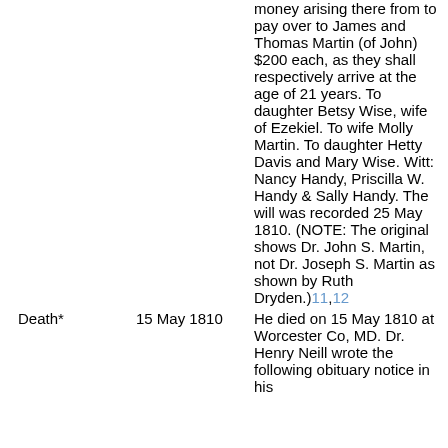money arising there from to pay over to James and Thomas Martin (of John) $200 each, as they shall respectively arrive at the age of 21 years. To daughter Betsy Wise, wife of Ezekiel. To wife Molly Martin. To daughter Hetty Davis and Mary Wise. Witt: Nancy Handy, Priscilla W. Handy & Sally Handy. The will was recorded 25 May 1810. (NOTE: The original shows Dr. John S. Martin, not Dr. Joseph S. Martin as shown by Ruth Dryden.)11,12
Death*	15 May 1810	He died on 15 May 1810 at Worcester Co, MD. Dr. Henry Neill wrote the following obituary notice in his